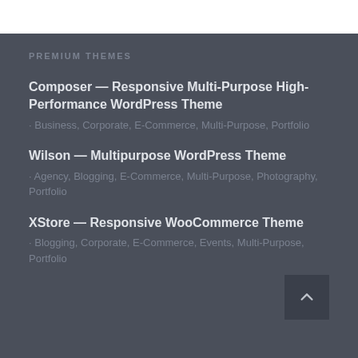PREMIUM THEMES
Composer — Responsive Multi-Purpose High-Performance WordPress Theme · Business, Corporate, E-Commerce, Multi-Purpose, Portfolio
Wilson — Multipurpose WordPress Theme · Agency, Blogging, E-Commerce, Multi-Purpose, Photography, Portfolio
XStore — Responsive WooCommerce Theme · Blogging, Corporate, E-Commerce, Events, Multi-Purpose, Portfolio